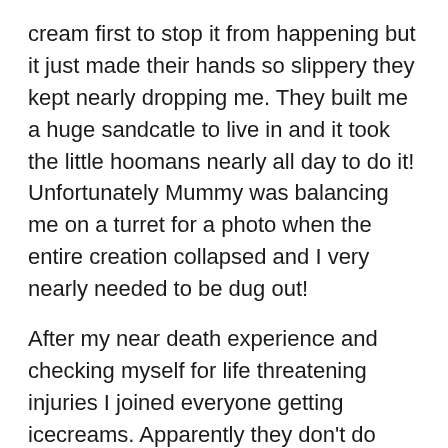cream first to stop it from happening but it just made their hands so slippery they kept nearly dropping me. They built me a huge sandcatle to live in and it took the little hoomans nearly all day to do it! Unfortunately Mummy was balancing me on a turret for a photo when the entire creation collapsed and I very nearly needed to be dug out!
After my near death experience and checking myself for life threatening injuries I joined everyone getting icecreams. Apparently they don't do grass or carrot flavoured ones. I was very disappointed.
With ices creams and sandcastles and paddling (which I wasn't brave enough to do seeing as the water would be up to my chin in one step!) and bad singing, I think I experienced everything neccessary for a British day at the beach.